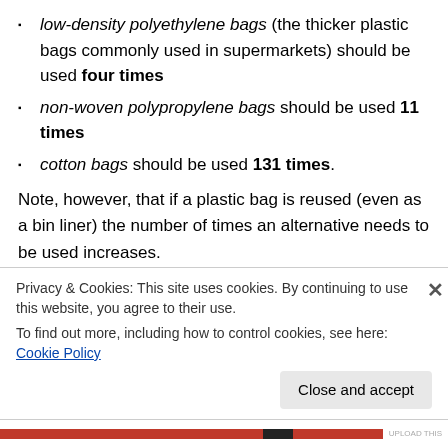low-density polyethylene bags (the thicker plastic bags commonly used in supermarkets) should be used four times
non-woven polypropylene bags should be used 11 times
cotton bags should be used 131 times.
Note, however, that if a plastic bag is reused (even as a bin liner) the number of times an alternative needs to be used increases.
It is worth noting that according to the 2010 Danish study...
Privacy & Cookies: This site uses cookies. By continuing to use this website, you agree to their use.
To find out more, including how to control cookies, see here: Cookie Policy